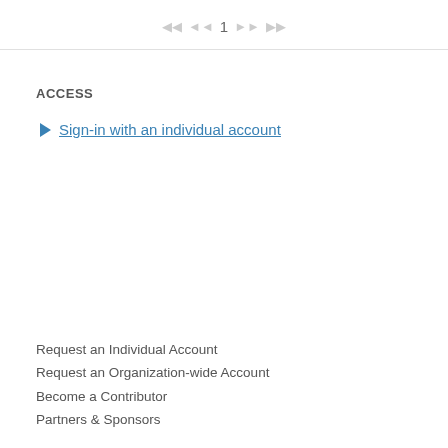| << 1 >> >|
ACCESS
Sign-in with an individual account
Request an Individual Account
Request an Organization-wide Account
Become a Contributor
Partners & Sponsors